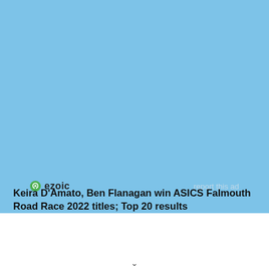[Figure (logo): Ezoic logo with green circular icon and bold 'ezoic' wordmark]
report this ad
Keira D'Amato, Ben Flanagan win ASICS Falmouth Road Race 2022 titles; Top 20 results